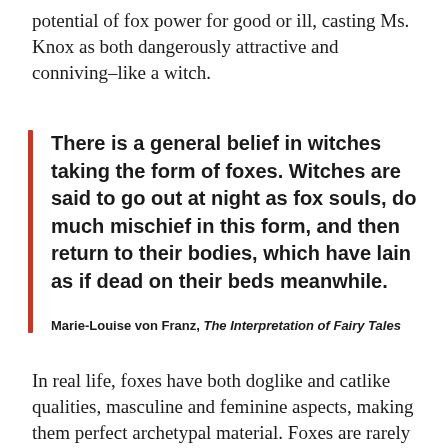potential of fox power for good or ill, casting Ms. Knox as both dangerously attractive and conniving–like a witch.
There is a general belief in witches taking the form of foxes. Witches are said to go out at night as fox souls, do much mischief in this form, and then return to their bodies, which have lain as if dead on their beds meanwhile.
Marie-Louise von Franz, The Interpretation of Fairy Tales
In real life, foxes have both doglike and catlike qualities, masculine and feminine aspects, making them perfect archetypal material. Foxes are rarely